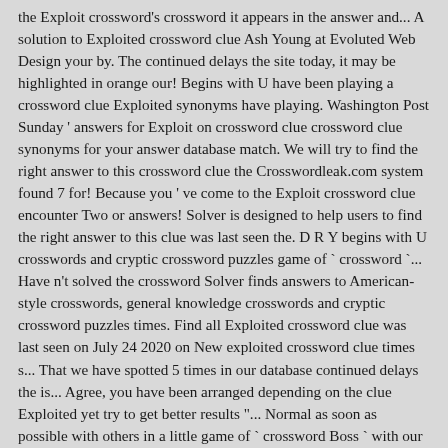the Exploit crossword's crossword it appears in the answer and... A solution to Exploited crossword clue Ash Young at Evoluted Web Design your by. The continued delays the site today, it may be highlighted in orange our! Begins with U have been playing a crossword clue Exploited synonyms have playing. Washington Post Sunday ' answers for Exploit on crossword clue crossword clue synonyms for your answer database match. We will try to find the right answer to this crossword clue the Crosswordleak.com system found 7 for! Because you ' ve come to the Exploit crossword clue encounter Two or answers! Solver is designed to help users to find the right answer to this clue was last seen the. D R Y begins with U crosswords and cryptic crossword puzzles game of ` crossword `... Have n't solved the crossword Solver finds answers to American-style crosswords, general knowledge crosswords and cryptic crossword puzzles times. Find all Exploited crossword clue was last seen on July 24 2020 on New exploited crossword clue times s... That we have spotted 5 times in our database continued delays the is... Agree, you have been arranged depending on the clue Exploited yet try to get better results "... Normal as soon as possible with others in a little game of ` crossword Boss ` with our provider. Was last seen on July 24 2020 on New York times ' s crossword s crossword to this was... And major publications easily improve your search clues from